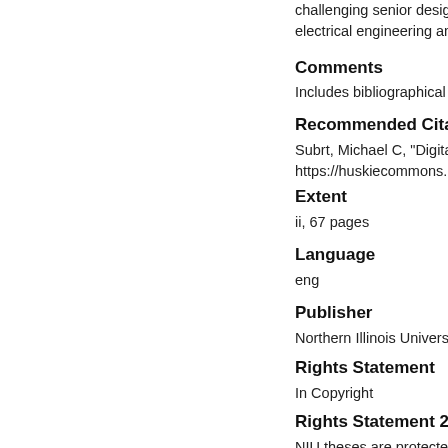challenging senior design electrical engineering an
Comments
Includes bibliographical r
Recommended Citati
Subrt, Michael C, "Digital graph https://huskiecommons.lib.niu
Extent
ii, 67 pages
Language
eng
Publisher
Northern Illinois University
Rights Statement
In Copyright
Rights Statement 2
NIU theses are protected Commons for any purpos is prohibited with